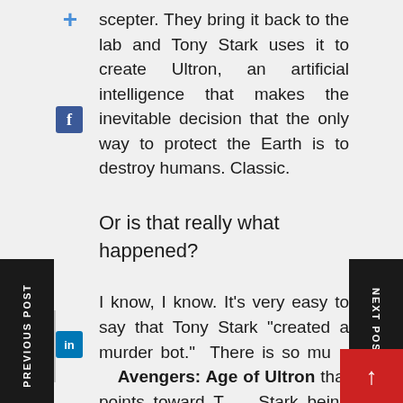scepter. They bring it back to the lab and Tony Stark uses it to create Ultron, an artificial intelligence that makes the inevitable decision that the only way to protect the Earth is to destroy humans. Classic.
Or is that really what happened?
I know, I know. It’s very easy to say that Tony Stark “created a murder bot.” There is so much in Avengers: Age of Ultron that points toward Tony Stark being reckless and irresponsible, and he definitely played his part. Even if he didn’t create Ultron, he was trying to create something. And even after Ultron went so poorly, he didn’t hesitate to try again in creating Vision. Still, I don’t think he can take the blame for creating Ult…
PREVIOUS POST
NEXT POST